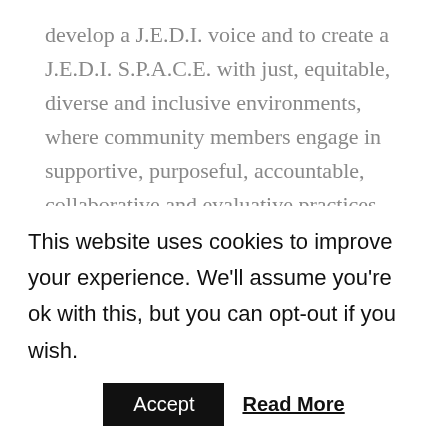develop a J.E.D.I. voice and to create a J.E.D.I. S.P.A.C.E. with just, equitable, diverse and inclusive environments, where community members engage in supportive, purposeful, accountable, collaborative and evaluative practices.

By working together, the CEO and chair can decide to dial up or dial down their shared authority to address toxic behavior and unhealthy conflicts, uplift the morale or facilitate the cohesion of individuals and groups, or foster more active engagement of board
This website uses cookies to improve your experience. We'll assume you're ok with this, but you can opt-out if you wish.
Accept   Read More